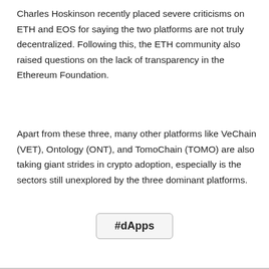Charles Hoskinson recently placed severe criticisms on ETH and EOS for saying the two platforms are not truly decentralized. Following this, the ETH community also raised questions on the lack of transparency in the Ethereum Foundation.
Apart from these three, many other platforms like VeChain (VET), Ontology (ONT), and TomoChain (TOMO) are also taking giant strides in crypto adoption, especially is the sectors still unexplored by the three dominant platforms.
#dApps